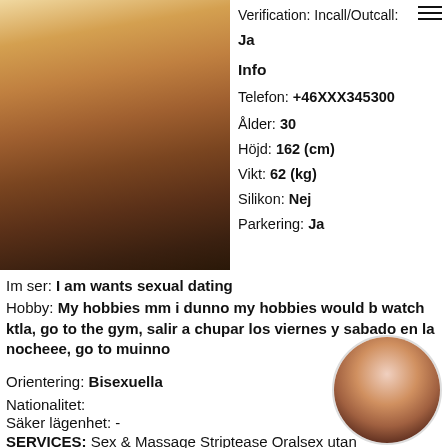[Figure (photo): Photo of a blonde woman showing cleavage, wearing a patterned jacket]
Verification: Incall/Outcall: Ja
Info
Telefon: +46XXX345300
Ålder: 30
Höjd: 162 (cm)
Vikt: 62 (kg)
Silikon: Nej
Parkering: Ja
Im ser: I am wants sexual dating
Hobby: My hobbies mm i dunno my hobbies would b watch ktla, go to the gym, salir a chupar los viernes y sabado en la nocheee, go to mu... inno
Orientering: Bisexuella
Nationalitet:
Säker lägenhet: -
[Figure (photo): Circular photo of a dark-haired woman]
SERVICES: Sex & Massage Striptease Oralsex utan